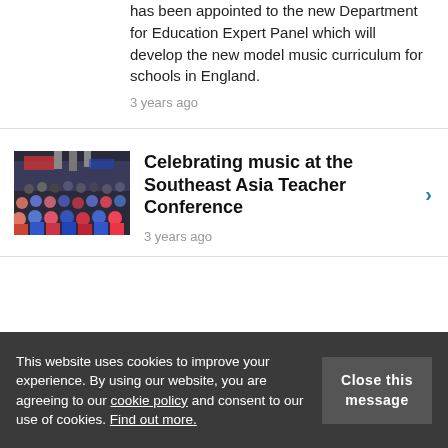has been appointed to the new Department for Education Expert Panel which will develop the new model music curriculum for schools in England.
3 years ago
[Figure (photo): Group photo of a large number of people gathered at the Southeast Asia Teacher Conference.]
Celebrating music at the Southeast Asia Teacher Conference
3 years ago
This website uses cookies to improve your experience. By using our website, you are agreeing to our cookie policy and consent to our use of cookies. Find out more.